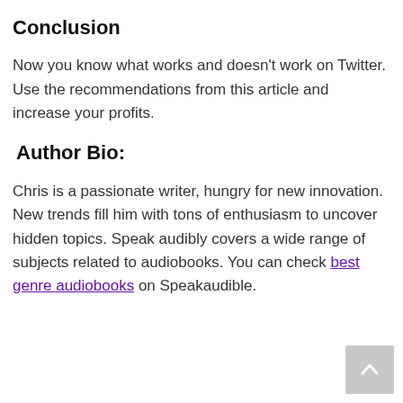Conclusion
Now you know what works and doesn't work on Twitter. Use the recommendations from this article and increase your profits.
Author Bio:
Chris is a passionate writer, hungry for new innovation. New trends fill him with tons of enthusiasm to uncover hidden topics. Speak audibly covers a wide range of subjects related to audiobooks. You can check best genre audiobooks on Speakaudible.